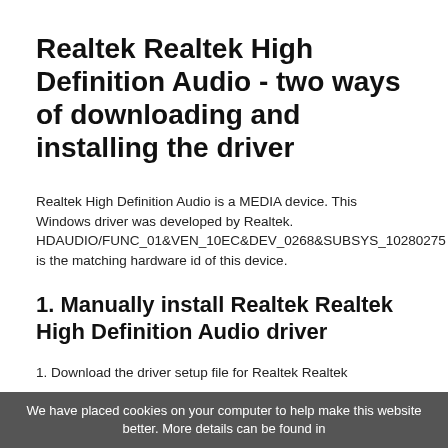Realtek Realtek High Definition Audio - two ways of downloading and installing the driver
Realtek High Definition Audio is a MEDIA device. This Windows driver was developed by Realtek. HDAUDIO/FUNC_01&VEN_10EC&DEV_0268&SUBSYS_10280275 is the matching hardware id of this device.
1. Manually install Realtek Realtek High Definition Audio driver
1. Download the driver setup file for Realtek Realtek
We have placed cookies on your computer to help make this website better. More details can be found in